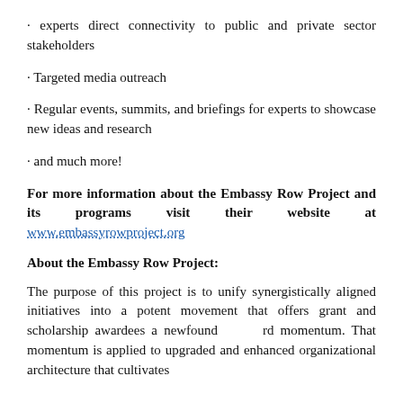experts direct connectivity to public and private sector stakeholders
Targeted media outreach
Regular events, summits, and briefings for experts to showcase new ideas and research
and much more!
For more information about the Embassy Row Project and its programs visit their website at www.embassyrowproject.org
About the Embassy Row Project:
The purpose of this project is to unify synergistically aligned initiatives into a potent movement that offers grant and scholarship awardees a newfound rd momentum. That momentum is applied to upgraded and enhanced organizational architecture that cultivates